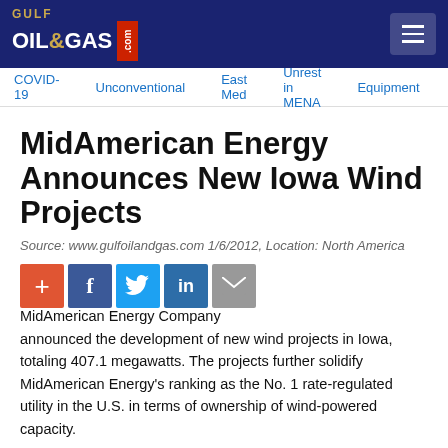Gulf Oil & Gas .com
COVID-19 | Unconventional | East Med | Unrest in MENA | Equipment
MidAmerican Energy Announces New Iowa Wind Projects
Source: www.gulfoilandgas.com 1/6/2012, Location: North America
[Figure (other): Social sharing icons: plus, Facebook, Twitter, LinkedIn, Email]
MidAmerican Energy Company announced the development of new wind projects in Iowa, totaling 407.1 megawatts. The projects further solidify MidAmerican Energy's ranking as the No. 1 rate-regulated utility in the U.S. in terms of ownership of wind-powered capacity.
"Wind is a viable renewable energy resource that enhances our